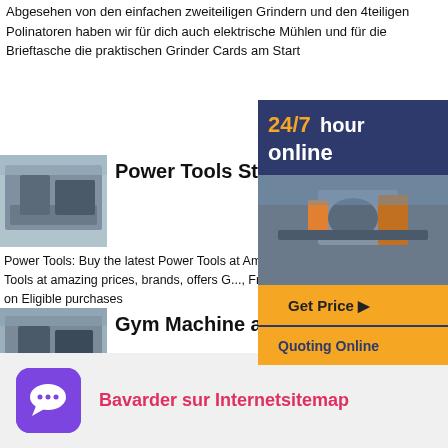Abgesehen von den einfachen zweiteiligen Grindern und den 4teiligen Polinatoren haben wir für dich auch elektrische Mühlen und für die Brieftasche die praktischen Grinder Cards am Start
[Figure (screenshot): Ad banner with dark blue background, '24/7 hour online' text in white and yellow, an image of industrial machinery, an orange 'Get Price' button with arrow, and an orange 'Quoting Online' button]
[Figure (photo): Industrial crushing machine in a warehouse setting]
Power Tools Store: Buy P Tools Online at Best Price
Power Tools: Buy the latest Power Tools at Amazon Cho... range of Power Tools at amazing prices, brands, offers G..., Free Shipping, Cash on Delivery on Eligible purchases
[Figure (photo): Industrial crushing machine in a warehouse setting, second image]
Gym Machine at Best Pric... a
Find here online price details of companies selling Gym Machine Get info of suppliers, manufacturers, exporters, traders of Gym Machine for buying in India
[Figure (screenshot): Purple rounded square chat icon with speech bubble]
Bavarder sur Internetsitemap